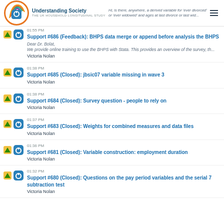Understanding Society – THE UK HOUSEHOLD LONGITUDINAL STUDY
Hi, is there, anywhere, a derived variable for 'ever divorced' or 'ever widowed' and ages at last divorce or last wid...
01:55 PM Support #686 (Feedback): BHPS data merge or append before analysis the BHPS
Dear Dr. Bolat,
We provide online training to use the BHPS with Stata. This provides an overview of the survey, th...
Victoria Nolan
01:38 PM Support #685 (Closed): jbsic07 variable missing in wave 3
Victoria Nolan
01:38 PM Support #684 (Closed): Survey question - people to rely on
Victoria Nolan
01:37 PM Support #683 (Closed): Weights for combined measures and data files
Victoria Nolan
01:36 PM Support #681 (Closed): Variable construction: employment duration
Victoria Nolan
01:32 PM Support #680 (Closed): Questions on the pay period variables and the serial 7 subtraction test
Victoria Nolan